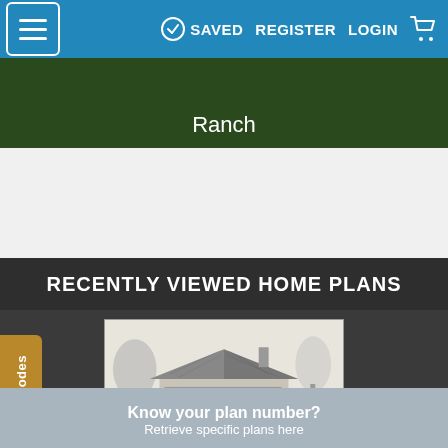SAVED  REGISTER  LOGIN
Ranch
RECENTLY VIEWED HOME PLANS
[Figure (illustration): Black and white pencil sketch illustration of a ranch-style house with trees in the background and a driveway in the foreground.]
Promo Codes
Know your plan number?
Retrieve specific plans here